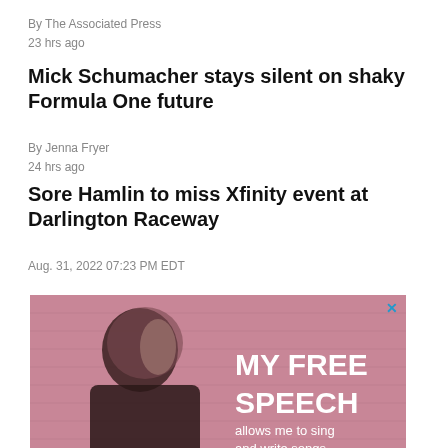By The Associated Press
23 hrs ago
Mick Schumacher stays silent on shaky Formula One future
By Jenna Fryer
24 hrs ago
Sore Hamlin to miss Xfinity event at Darlington Raceway
Aug. 31, 2022 07:23 PM EDT
[Figure (photo): Advertisement featuring Kathy Mattea with text 'MY FREE SPEECH allows me to sing and write songs']